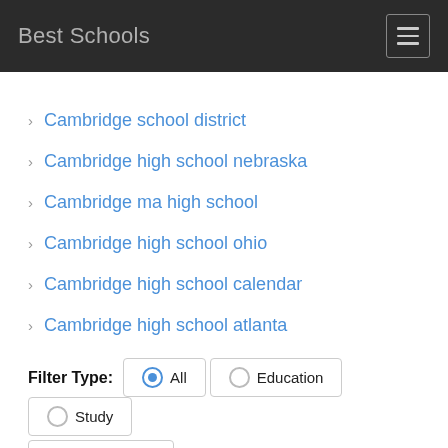Best Schools
Cambridge school district
Cambridge high school nebraska
Cambridge ma high school
Cambridge high school ohio
Cambridge high school calendar
Cambridge high school atlanta
Filter Type: All  Education  Study  Best School